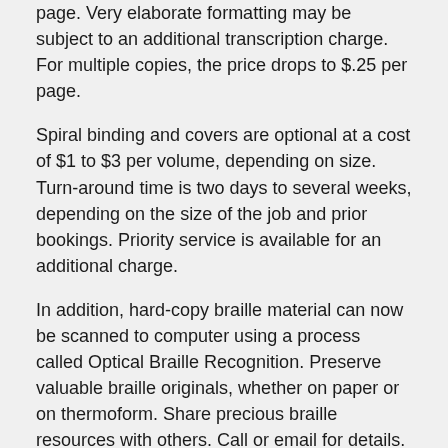page. Very elaborate formatting may be subject to an additional transcription charge. For multiple copies, the price drops to $.25 per page.
Spiral binding and covers are optional at a cost of $1 to $3 per volume, depending on size. Turn-around time is two days to several weeks, depending on the size of the job and prior bookings. Priority service is available for an additional charge.
In addition, hard-copy braille material can now be scanned to computer using a process called Optical Braille Recognition. Preserve valuable braille originals, whether on paper or on thermoform. Share precious braille resources with others. Call or email for details.
VP Braille Service
2221 S. Real Rd. #120
Bakersfield, CA 93309-5234
(360) 200-5454
Email: vb2010@...